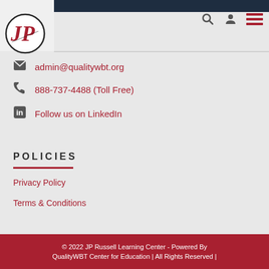[Figure (logo): JP Russell Learning Center logo - circular emblem with J and P letters]
admin@qualitywbt.org
888-737-4488 (Toll Free)
Follow us on LinkedIn
POLICIES
Privacy Policy
Terms & Conditions
© 2022 JP Russell Learning Center - Powered By QualityWBT Center for Education | All Rights Reserved |